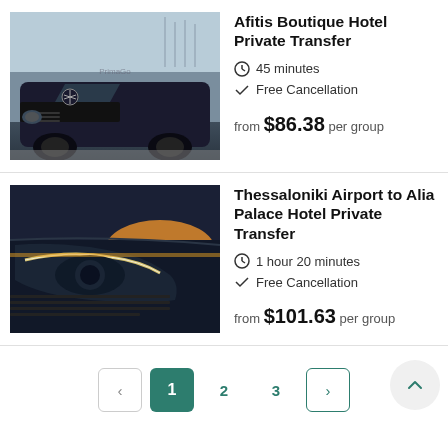[Figure (photo): Black Mercedes-Benz sedan parked near a marina, front three-quarter view]
Afitis Boutique Hotel Private Transfer
45 minutes
Free Cancellation
from $86.38 per group
[Figure (photo): Dark blue Mercedes-Benz close-up of front headlight with sunset sky in background]
Thessaloniki Airport to Alia Palace Hotel Private Transfer
1 hour 20 minutes
Free Cancellation
from $101.63 per group
Pagination: < 1 2 3 >